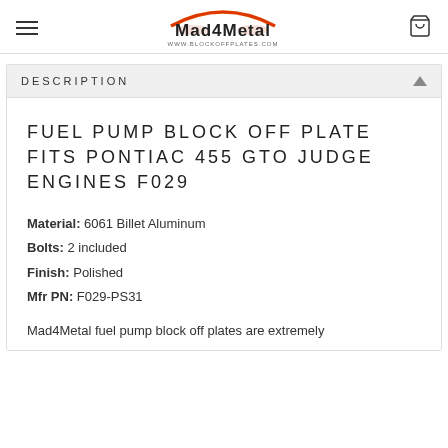Mad4Metal www.blockoffplates.com
DESCRIPTION
FUEL PUMP BLOCK OFF PLATE FITS PONTIAC 455 GTO JUDGE ENGINES F029
Material: 6061 Billet Aluminum
Bolts: 2 included
Finish: Polished
Mfr PN: F029-PS31
Mad4Metal fuel pump block off plates are extremely